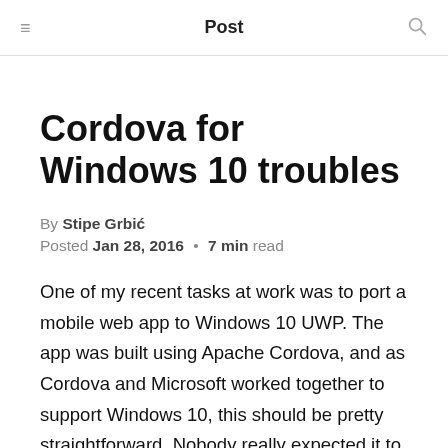Post
Cordova for Windows 10 troubles
By Stipe Grbić
Posted Jan 28, 2016 • 7 min read
One of my recent tasks at work was to port a mobile web app to Windows 10 UWP. The app was built using Apache Cordova, and as Cordova and Microsoft worked together to support Windows 10, this should be pretty straightforward. Nobody really expected it to be as simple as it was advertised, and I was ready for the multi